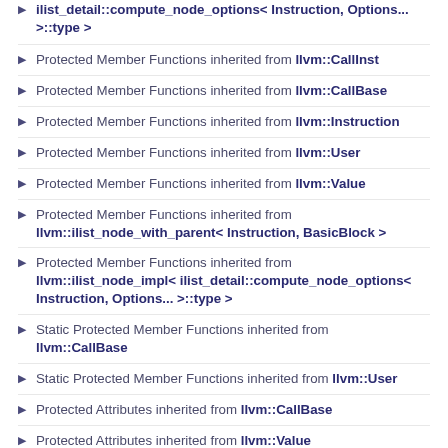ilist_detail::compute_node_options< Instruction, Options... >::type >
Protected Member Functions inherited from llvm::CallInst
Protected Member Functions inherited from llvm::CallBase
Protected Member Functions inherited from llvm::Instruction
Protected Member Functions inherited from llvm::User
Protected Member Functions inherited from llvm::Value
Protected Member Functions inherited from llvm::ilist_node_with_parent< Instruction, BasicBlock >
Protected Member Functions inherited from llvm::ilist_node_impl< ilist_detail::compute_node_options< Instruction, Options... >::type >
Static Protected Member Functions inherited from llvm::CallBase
Static Protected Member Functions inherited from llvm::User
Protected Attributes inherited from llvm::CallBase
Protected Attributes inherited from llvm::Value